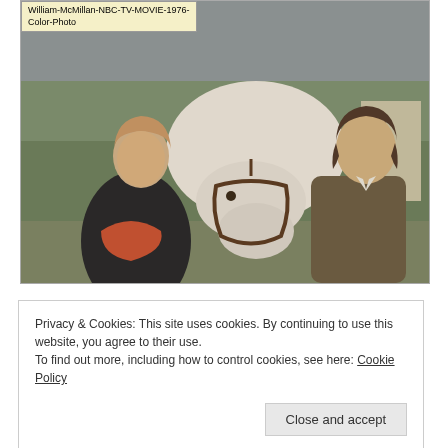[Figure (photo): Color photo of two people (a woman with short hair wearing a dark cloak/cape and a young man with longer hair in a brown jacket) standing beside a white horse outdoors. A yellow label overlay at top-left reads: 'William-McMillan-NBC-TV-MOVIE-1976-Color-Photo'. NBC TV Movie 1976.]
Privacy & Cookies: This site uses cookies. By continuing to use this website, you agree to their use.
To find out more, including how to control cookies, see here: Cookie Policy